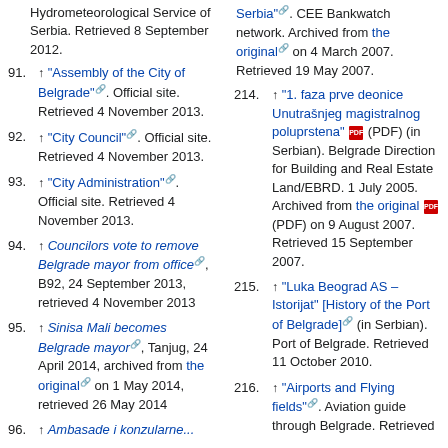Hydrometeorological Service of Serbia. Retrieved 8 September 2012.
91. ↑ "Assembly of the City of Belgrade". Official site. Retrieved 4 November 2013.
92. ↑ "City Council". Official site. Retrieved 4 November 2013.
93. ↑ "City Administration". Official site. Retrieved 4 November 2013.
94. ↑ Councilors vote to remove Belgrade mayor from office, B92, 24 September 2013, retrieved 4 November 2013
95. ↑ Sinisa Mali becomes Belgrade mayor, Tanjug, 24 April 2014, archived from the original on 1 May 2014, retrieved 26 May 2014
96. ↑ Ambasade i konzularne...
Serbia". CEE Bankwatch network. Archived from the original on 4 March 2007. Retrieved 19 May 2007.
214. ↑ "1. faza prve deonice Unutrašnjeg magistralnog poluprstena" (PDF) (in Serbian). Belgrade Direction for Building and Real Estate Land/EBRD. 1 July 2005. Archived from the original (PDF) on 9 August 2007. Retrieved 15 September 2007.
215. ↑ "Luka Beograd AS – Istorijat" [History of the Port of Belgrade] (in Serbian). Port of Belgrade. Retrieved 11 October 2010.
216. ↑ "Airports and Flying fields". Aviation guide through Belgrade. Retrieved